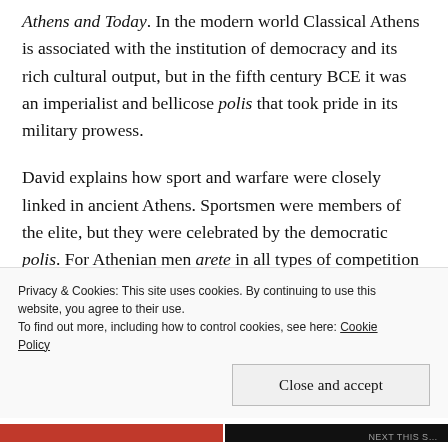Athens and Today. In the modern world Classical Athens is associated with the institution of democracy and its rich cultural output, but in the fifth century BCE it was an imperialist and bellicose polis that took pride in its military prowess.
David explains how sport and warfare were closely linked in ancient Athens. Sportsmen were members of the elite, but they were celebrated by the democratic polis. For Athenian men arete in all types of competition were the ideal to which
Privacy & Cookies: This site uses cookies. By continuing to use this website, you agree to their use.
To find out more, including how to control cookies, see here: Cookie Policy
Close and accept